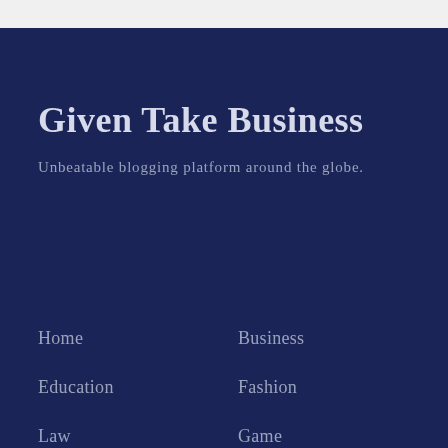Given Take Business
Unbeatable blogging platform around the globe.
Home
Business
Education
Fashion
Law
Game